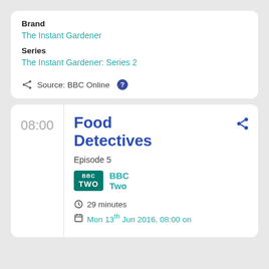Brand
The Instant Gardener
Series
The Instant Gardener: Series 2
Source: BBC Online
08:00
Food Detectives
Episode 5
BBC Two
29 minutes
Mon 13th Jun 2016, 08:00 on